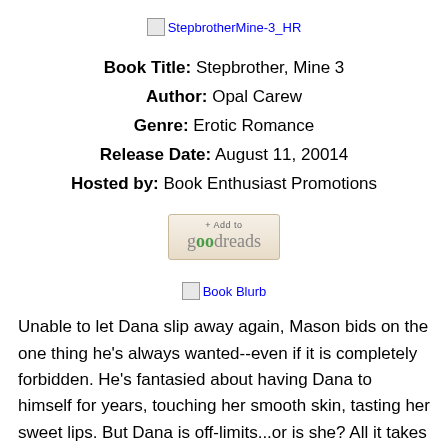[Figure (other): Broken image placeholder for StepbrotherMine-3_HR book cover]
Book Title: Stepbrother, Mine 3
Author: Opal Carew
Genre: Erotic Romance
Release Date: August 11, 20014
Hosted by: Book Enthusiast Promotions
[Figure (other): Goodreads Add to button]
[Figure (other): Broken image placeholder for Book Blurb]
Unable to let Dana slip away again, Mason bids on the one thing he's always wanted--even if it is completely forbidden. He's fantasied about having Dana to himself for years, touching her smooth skin, tasting her sweet lips. But Dana is off-limits...or is she? All it takes is just one kiss to find out...